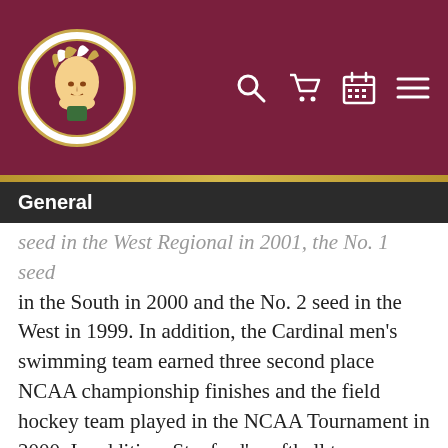Florida State University navigation header with logo and icons (search, cart, calendar, menu)
General
seed in the West Regional in 2001, the No. 1 seed in the South in 2000 and the No. 2 seed in the West in 1999. In addition, the Cardinal men's swimming team earned three second place NCAA championship finishes and the field hockey team played in the NCAA Tournament in 2000. In addition, Stanford's softball team advanced to the 2001 Women's College World Series and played in the NCAA regionals in 2002.
Bradley also worked at the University of Miami from 1995-98 where he worked with eight teams